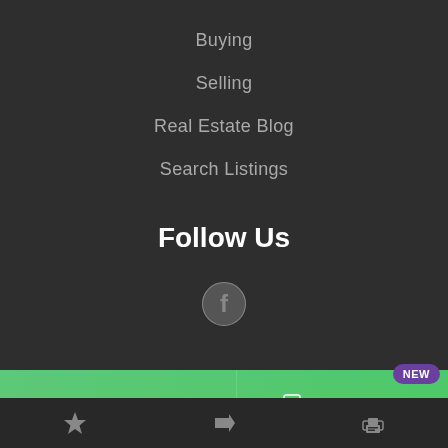Buying
Selling
Real Estate Blog
Search Listings
Follow Us
[Figure (logo): Facebook icon circle with 'f' logo in grey on dark background]
Ask about Property
NEW
Video Tour
Star icon, Share icon, Print icon